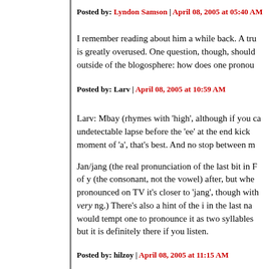Posted by: Lyndon Samson | April 08, 2005 at 05:40 AM
I remember reading about him a while back. A tru is greatly overused. One question, though, should outside of the blogosphere: how does one prono…
Posted by: Larv | April 08, 2005 at 10:59 AM
Larv: Mbay (rhymes with 'high', although if you ca undetectable lapse before the 'ee' at the end kick moment of 'a', that's best. And no stop between m
Jan/jang (the real pronunciation of the last bit in F of y (the consonant, not the vowel) after, but whe pronounced on TV it's closer to 'jang', though wit very ng.) There's also a hint of the i in the last na would tempt one to pronounce it as two syllables but it is definitely there if you listen.
Posted by: hilzoy | April 08, 2005 at 11:15 AM
This piece has made my day. Thank you for point…